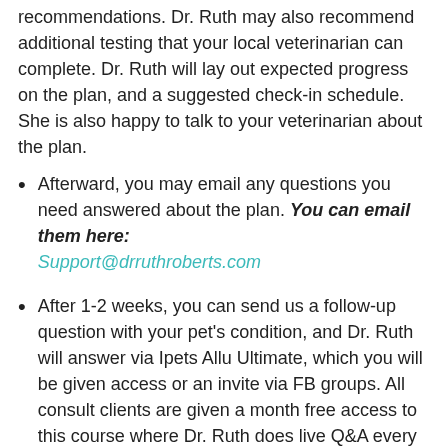recommendations. Dr. Ruth may also recommend additional testing that your local veterinarian can complete. Dr. Ruth will lay out expected progress on the plan, and a suggested check-in schedule. She is also happy to talk to your veterinarian about the plan.
Afterward, you may email any questions you need answered about the plan. You can email them here: Support@drruthroberts.com
After 1-2 weeks, you can send us a follow-up question with your pet's condition, and Dr. Ruth will answer via Ipets Allu Ultimate, which you will be given access or an invite via FB groups. All consult clients are given a month free access to this course where Dr. Ruth does live Q&A every week on Tuesdays with the members.
We highly recommend a follow-up consultation approximately one month after your initial consultation. This follow-up assesses how the health